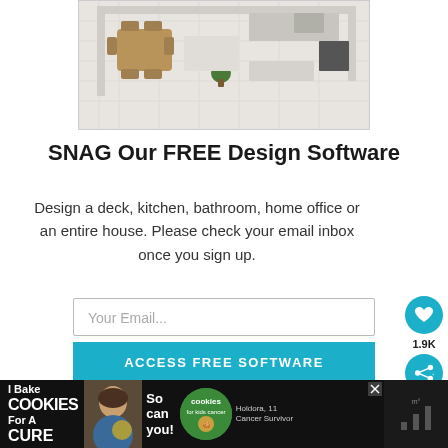[Figure (illustration): 3D floor plan rendering of a kitchen and living area viewed from above, showing furniture including a table with chairs, kitchen counter, and decorative plant. Light beige/white color scheme.]
SNAG Our FREE Design Software
Design a deck, kitchen, bathroom, home office or an entire house. Please check your email inbox once you sign up.
Your Email...
ACCESS FREE SOFTWARE
I consent to receiving emails and personalized ads
[Figure (infographic): Advertisement banner at bottom: 'I Bake COOKIES For A CURE' with image of person and cookies circle logo, text 'So can you!' and 'Holdora, 11 Cancer Survivor']